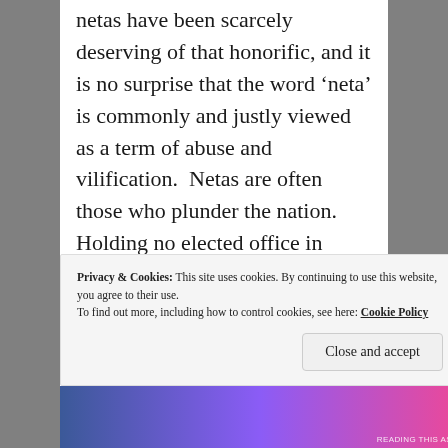netas have been scarcely deserving of that honorific, and it is no surprise that the word 'neta' is commonly and justly viewed as a term of abuse and vilification.  Netas are often those who plunder the nation.  Holding no elected office in either independent India or even in the Congress party after his one-year term of presidency of the Congress in the early 1920s, and
Privacy & Cookies: This site uses cookies. By continuing to use this website, you agree to their use. To find out more, including how to control cookies, see here: Cookie Policy
Close and accept